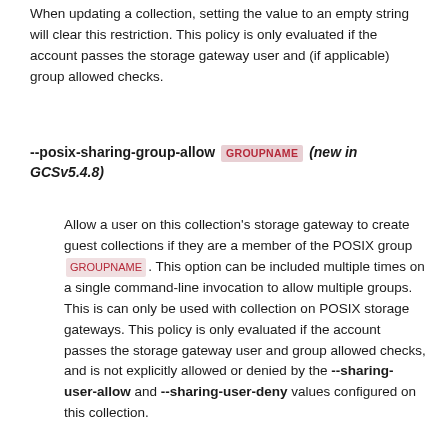When updating a collection, setting the value to an empty string will clear this restriction. This policy is only evaluated if the account passes the storage gateway user and (if applicable) group allowed checks.
--posix-sharing-group-allow GROUPNAME (new in GCSv5.4.8)
Allow a user on this collection's storage gateway to create guest collections if they are a member of the POSIX group GROUPNAME. This option can be included multiple times on a single command-line invocation to allow multiple groups. This is can only be used with collection on POSIX storage gateways. This policy is only evaluated if the account passes the storage gateway user and group allowed checks, and is not explicitly allowed or denied by the --sharing-user-allow and --sharing-user-deny values configured on this collection.